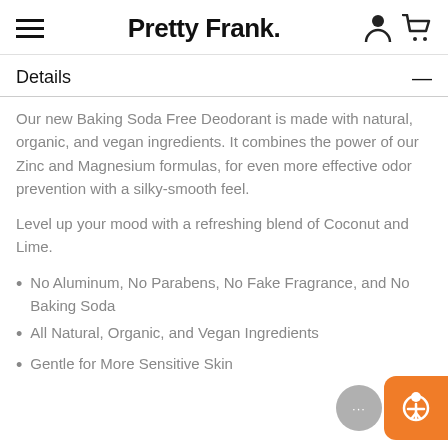Pretty Frank.
Details
Our new Baking Soda Free Deodorant is made with natural, organic, and vegan ingredients. It combines the power of our Zinc and Magnesium formulas, for even more effective odor prevention with a silky-smooth feel.
Level up your mood with a refreshing blend of Coconut and Lime.
No Aluminum, No Parabens, No Fake Fragrance, and No Baking Soda
All Natural, Organic, and Vegan Ingredients
Gentle for More Sensitive Skin